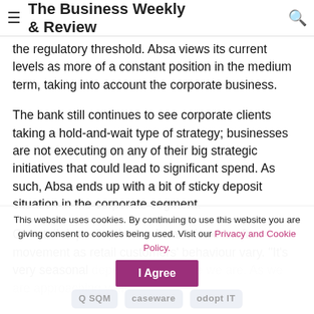The Business Weekly & Review
the regulatory threshold. Absa views its current levels as more of a constant position in the medium term, taking into account the corporate business.
The bank still continues to see corporate clients taking a hold-and-wait type of strategy; businesses are not executing on any of their big strategic initiatives that could lead to significant spend. As such, Absa ends up with a bit of sticky deposit situation in the corporate segment.
On retail deposits, the bank said there is often movement as retail customers' behaviour vary. “It’s very seasonal depending on where we are. As we are approaching year
This website uses cookies. By continuing to use this website you are giving consent to cookies being used. Visit our Privacy and Cookie Policy.